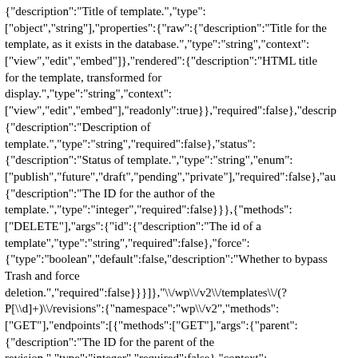{"description":"Title of template.","type":["object","string"],"properties":{"raw":{"description":"Title for the template, as it exists in the database.","type":"string","context":["view","edit","embed"]},"rendered":{"description":"HTML title for the template, transformed for display.","type":"string","context":["view","edit","embed"],"readonly":true}},"required":false},"descrip {"description":"Description of template.","type":"string","required":false},"status":{"description":"Status of template.","type":"string","enum":["publish","future","draft","pending","private"],"required":false},"au {"description":"The ID for the author of the template.","type":"integer","required":false}}},{"methods":["DELETE"],"args":{"id":{"description":"The id of a template","type":"string","required":false},"force":{"type":"boolean","default":false,"description":"Whether to bypass Trash and force deletion.","required":false}}}]},"\/wp\/v2\/templates\/(?P[\\d]+)\/revisions":{"namespace":"wp\/v2","methods":["GET"],"endpoints":[{"methods":["GET"],"args":{"parent":{"description":"The ID for the parent of the revision.","type":"integer","required":false},"context":{"description":"Scope under which the request is made; determines fields present in response.","type":"string","enum":["view","embed","edit"],"default":"view","required":false},"page":